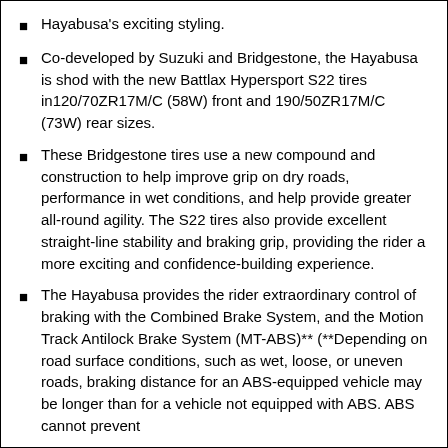Hayabusa's exciting styling.
Co-developed by Suzuki and Bridgestone, the Hayabusa is shod with the new Battlax Hypersport S22 tires in120/70ZR17M/C (58W) front and 190/50ZR17M/C (73W) rear sizes.
These Bridgestone tires use a new compound and construction to help improve grip on dry roads, performance in wet conditions, and help provide greater all-round agility. The S22 tires also provide excellent straight-line stability and braking grip, providing the rider a more exciting and confidence-building experience.
The Hayabusa provides the rider extraordinary control of braking with the Combined Brake System, and the Motion Track Antilock Brake System (MT-ABS)** (**Depending on road surface conditions, such as wet, loose, or uneven roads, braking distance for an ABS-equipped vehicle may be longer than for a vehicle not equipped with ABS. ABS cannot prevent